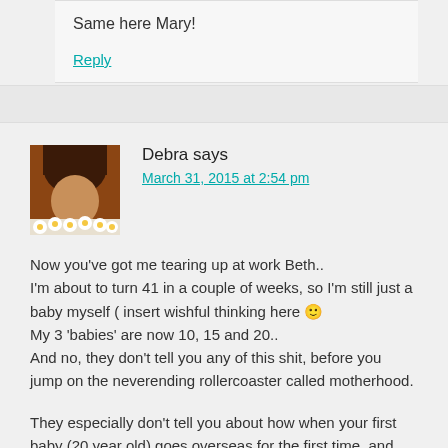Same here Mary!
Reply
Debra says
March 31, 2015 at 2:54 pm
Now you've got me tearing up at work Beth.. I'm about to turn 41 in a couple of weeks, so I'm still just a baby myself ( insert wishful thinking here 🙂 My 3 'babies' are now 10, 15 and 20.. And no, they don't tell you any of this shit, before you jump on the neverending rollercoaster called motherhood.
They especially don't tell you about how when your first baby (20 year old) goes overseas for the first time, and